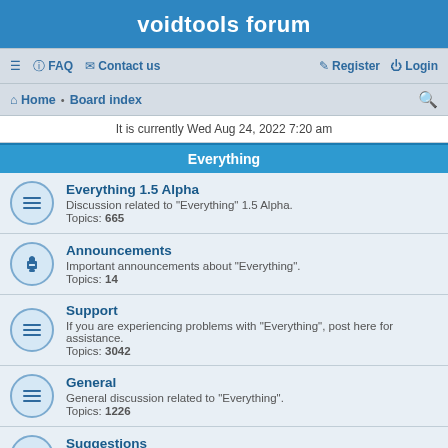voidtools forum
≡  FAQ  Contact us    Register  Login
Home · Board index
It is currently Wed Aug 24, 2022 7:20 am
Everything
Everything 1.5 Alpha
Discussion related to "Everything" 1.5 Alpha.
Topics: 665
Announcements
Important announcements about "Everything".
Topics: 14
Support
If you are experiencing problems with "Everything", post here for assistance.
Topics: 3042
General
General discussion related to "Everything".
Topics: 1226
Suggestions
Have a suggestion for "Everything"? Please post it here.
Topics: 1388
Bug report